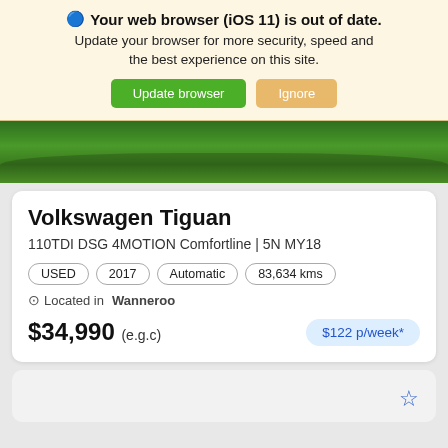🔵 Your web browser (iOS 11) is out of date. Update your browser for more security, speed and the best experience on this site. [Update browser] [Ignore]
[Figure (photo): Partial car photo showing green grass/lawn background with car shadow visible at bottom]
Volkswagen Tiguan
110TDI DSG 4MOTION Comfortline | 5N MY18
USED
2017
Automatic
83,634 kms
Located in Wanneroo
$34,990 (e.g.c)   $122 p/week*